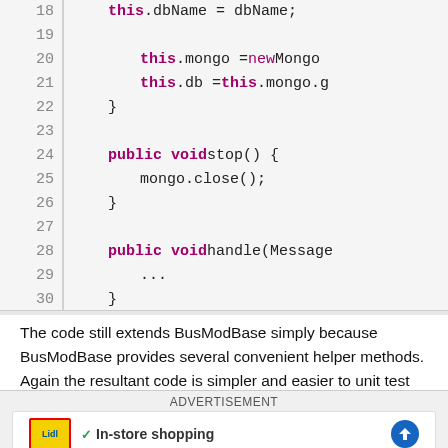[Figure (screenshot): Code snippet showing Java/Vert.x busmod code with line numbers 18-32. Lines include: this.dbName = dbName; (line 18), this.mongo = new Mongo... (line 20), this.db = this.mongo.g... (line 21), closing brace (line 22), blank (line 23), public void stop() { (line 24), mongo.close(); (line 25), } (line 26), blank (line 27), public void handle(Message... (line 28), ... (line 29), } (line 30), blank (line 31), } (line 32)]
The code still extends BusModBase simply because BusModBase provides several convenient helper methods. Again the resultant code is simpler and easier to unit test than the non-modular equivalent.
[Figure (screenshot): Advertisement banner with ADVERTISEMENT label, Lidl logo, checkmark with 'In-store shopping' text, and a blue navigation/directions icon on the right.]